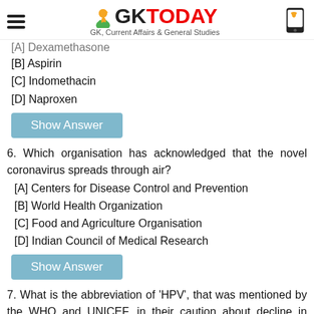GK TODAY — GK, Current Affairs & General Studies
[A] Dexamethasone
[B] Aspirin
[C] Indomethacin
[D] Naproxen
Show Answer
6. Which organisation has acknowledged that the novel coronavirus spreads through air?
[A] Centers for Disease Control and Prevention
[B] World Health Organization
[C] Food and Agriculture Organisation
[D] Indian Council of Medical Research
Show Answer
7. What is the abbreviation of 'HPV', that was mentioned by the WHO and UNICEF, in their caution about decline in vaccination?